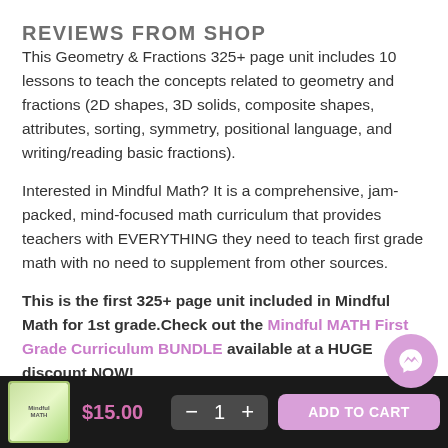REVIEWS FROM SHOP
This Geometry & Fractions 325+ page unit includes 10 lessons to teach the concepts related to geometry and fractions (2D shapes, 3D solids, composite shapes, attributes, sorting, symmetry, positional language, and writing/reading basic fractions).
Interested in Mindful Math? It is a comprehensive, jam-packed, mind-focused math curriculum that provides teachers with EVERYTHING they need to teach first grade math with no need to supplement from other sources.
This is the first 325+ page unit included in Mindful Math for 1st grade.Check out the Mindful MATH First Grade Curriculum BUNDLE available at a HUGE discount NOW!
**SEE THE PREVIEW FOR A LESSON LIST, STANDARDS COVERED, AND WHAT IS INCLUDED.** THE VIDEO P...
$15.00
ADD TO CART